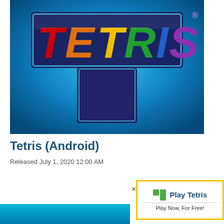[Figure (screenshot): Tetris game logo on blue gradient background — colorful 3D block letters spelling TETRIS with a T-shaped tetromino below, set against a bright blue radial gradient background]
Tetris (Android)
Released July 1, 2020 12:00 AM
[Figure (screenshot): Advertisement popup with yellow border showing green Tetris block icon, 'Play Tetris' title in blue, and 'Play Now, For Free!' subtitle, with an X close button]
[Figure (screenshot): Partial blue gradient banner at bottom of page]